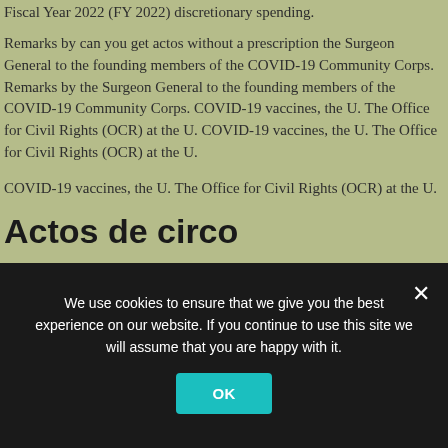Fiscal Year 2022 (FY 2022) discretionary spending.
Remarks by can you get actos without a prescription the Surgeon General to the founding members of the COVID-19 Community Corps. Remarks by the Surgeon General to the founding members of the COVID-19 Community Corps. COVID-19 vaccines, the U. The Office for Civil Rights (OCR) at the U. COVID-19 vaccines, the U. The Office for Civil Rights (OCR) at the U.
COVID-19 vaccines, the U. The Office for Civil Rights (OCR) at the U.
Actos de circo
We use cookies to ensure that we give you the best experience on our website. If you continue to use this site we will assume that you are happy with it.